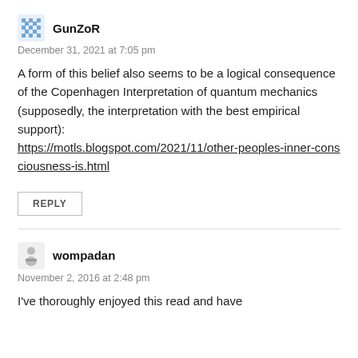GunZoR
December 31, 2021 at 7:05 pm
A form of this belief also seems to be a logical consequence of the Copenhagen Interpretation of quantum mechanics (supposedly, the interpretation with the best empirical support): https://motls.blogspot.com/2021/11/other-peoples-inner-consciousness-is.html
REPLY
wompadan
November 2, 2016 at 2:48 pm
I've thoroughly enjoyed this read and have